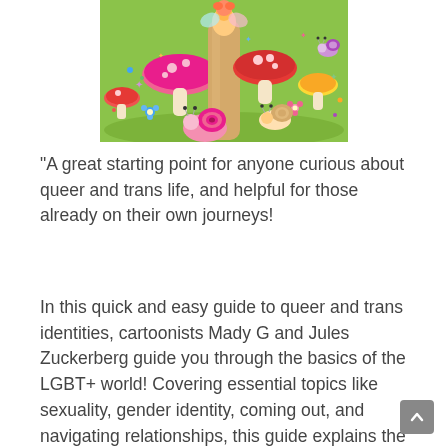[Figure (illustration): Colorful cartoon illustration showing mushrooms, snails, and flowers on a green grassy background with a whimsical fairy-tale style. Pink and red mushrooms, snails with spiral shells, small blue and colorful flowers scattered on bright green grass.]
“A great starting point for anyone curious about queer and trans life, and helpful for those already on their own journeys!
In this quick and easy guide to queer and trans identities, cartoonists Mady G and Jules Zuckerberg guide you through the basics of the LGBT+ world! Covering essential topics like sexuality, gender identity, coming out, and navigating relationships, this guide explains the spectrum of human experience through informative, concise, intersectional, and b—